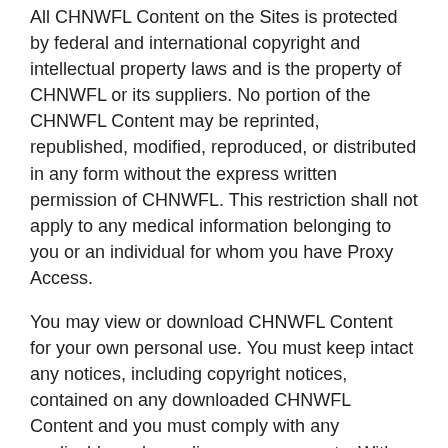All CHNWFL Content on the Sites is protected by federal and international copyright and intellectual property laws and is the property of CHNWFL or its suppliers. No portion of the CHNWFL Content may be reprinted, republished, modified, reproduced, or distributed in any form without the express written permission of CHNWFL. This restriction shall not apply to any medical information belonging to you or an individual for whom you have Proxy Access.
You may view or download CHNWFL Content for your own personal use. You must keep intact any notices, including copyright notices, contained on any downloaded CHNWFL Content and you must comply with any applicable end-user license agreements. With respect to CHNWFL Content, any rights not expressly granted by these Terms or any applicable end-user license agreements are reserved by CHNWFL.